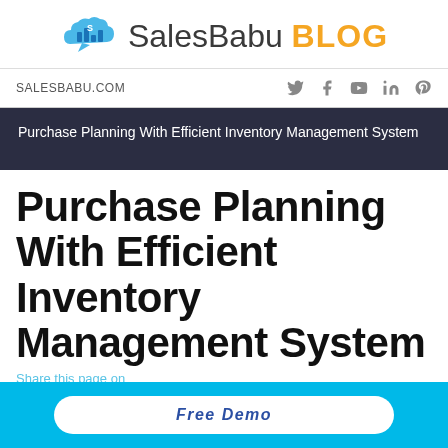[Figure (logo): SalesBabu Blog logo with cloud and bar chart icon in blue, text SalesBabu in dark gray and BLOG in orange/gold bold]
SALESBABU.COM
Purchase Planning With Efficient Inventory Management System
Purchase Planning With Efficient Inventory Management System
Share this page on
Free Demo